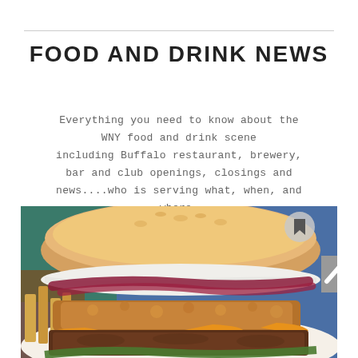FOOD AND DRINK NEWS
Everything you need to know about the WNY food and drink scene including Buffalo restaurant, brewery, bar and club openings, closings and news....who is serving what, when, and where.
[Figure (photo): Close-up photo of a large burger with a brioche bun, red onion, white sauce, fried coating, melted cheese, and a beef patty, with french fries visible on the side, set against a colorful background.]